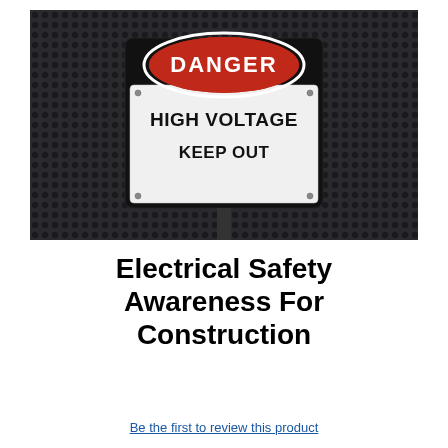[Figure (photo): A DANGER HIGH VOLTAGE KEEP OUT safety sign mounted on a dark perforated metal background. The sign has a black border with a red oval at the top reading DANGER in white bold text, and a white rectangular lower portion reading HIGH VOLTAGE KEEP OUT in bold black text.]
Electrical Safety Awareness For Construction
Be the first to review this product